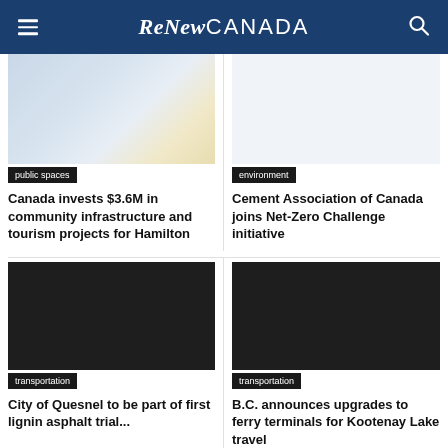ReNew CANADA
[Figure (photo): Construction or infrastructure site image with scaffolding and structural elements, light blue tones]
public spaces
Canada invests $3.6M in community infrastructure and tourism projects for Hamilton
[Figure (photo): Blank/white placeholder image for environment article]
environment
Cement Association of Canada joins Net-Zero Challenge initiative
[Figure (photo): Dark placeholder image for transportation article about Quesnel lignin asphalt]
transportation
City of Quesnel to be part of first lignin asphalt trial...
[Figure (photo): Dark placeholder image for transportation article about BC ferry terminals]
transportation
B.C. announces upgrades to ferry terminals for Kootenay Lake travel